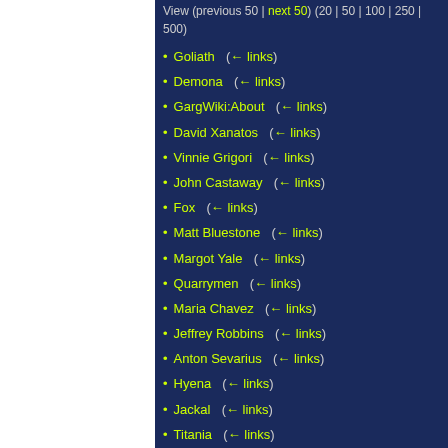View (previous 50 | next 50) (20 | 50 | 100 | 250 | 500)
Goliath  (← links)
Demona  (← links)
GargWiki:About  (← links)
David Xanatos  (← links)
Vinnie Grigori  (← links)
John Castaway  (← links)
Fox  (← links)
Matt Bluestone  (← links)
Margot Yale  (← links)
Quarrymen  (← links)
Maria Chavez  (← links)
Jeffrey Robbins  (← links)
Anton Sevarius  (← links)
Hyena  (← links)
Jackal  (← links)
Titania  (← links)
Duval  (← links)
Illuminati  (← links)